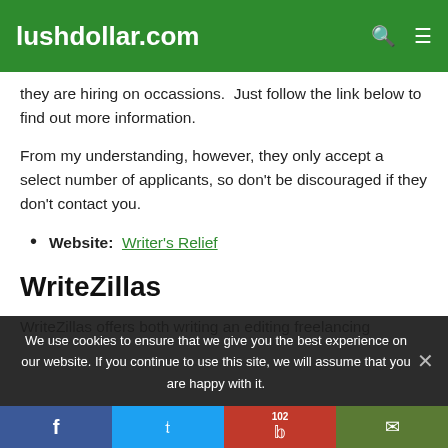lushdollar.com
they are hiring on occassions.  Just follow the link below to find out more information.
From my understanding, however, they only accept a select number of applicants, so don't be discouraged if they don't contact you.
Website:  Writer's Relief
WriteZillas
WriteZillas offers both writing an editing freelancing
We use cookies to ensure that we give you the best experience on our website. If you continue to use this site, we will assume that you are happy with it.